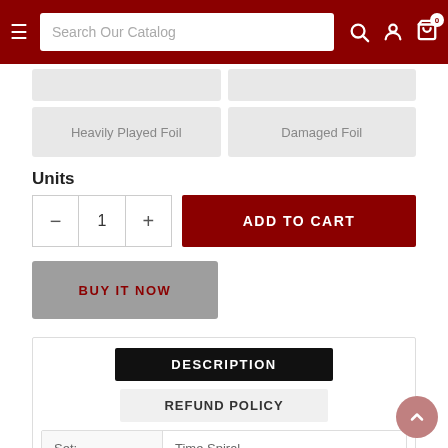Search Our Catalog
Heavily Played Foil
Damaged Foil
Units
- 1 +
ADD TO CART
BUY IT NOW
DESCRIPTION
REFUND POLICY
| Set: | Time Spiral |
| --- | --- |